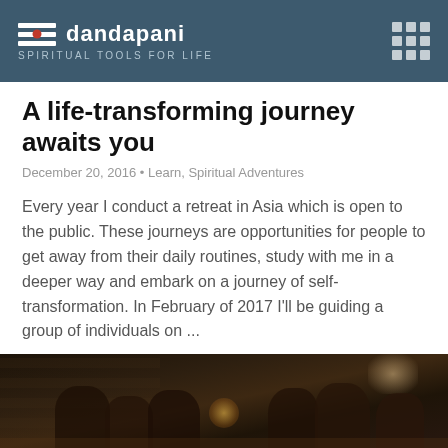dandapani — SPIRITUAL TOOLS FOR LIFE
A life-transforming journey awaits you
December 20, 2016 • Learn, Spiritual Adventures
Every year I conduct a retreat in Asia which is open to the public. These journeys are opportunities for people to get away from their daily routines, study with me in a deeper way and embark on a journey of self-transformation. In February of 2017 I'll be guiding a group of individuals on ...
Read More ›
[Figure (photo): Group of people sitting around a table in a dimly lit restaurant or dining room, with candlelight and a stone wall visible in the background.]